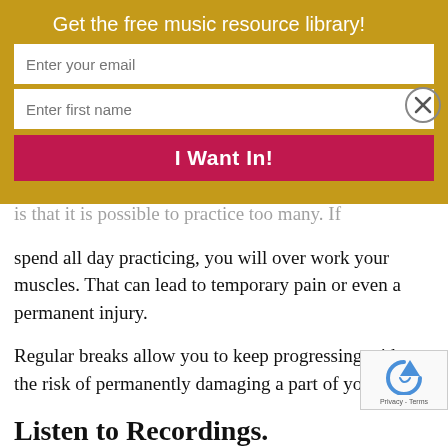Get the free music resource library!
Enter your email
Enter first name
I Want In!
is that it is possible to practice too many. If spend all day practicing, you will over work your muscles. That can lead to temporary pain or even a permanent injury.
Regular breaks allow you to keep progressing without the risk of permanently damaging a part of your body.
Listen to Recordings.
[Figure (logo): reCAPTCHA badge with spinning arrow icon and Privacy - Terms text]